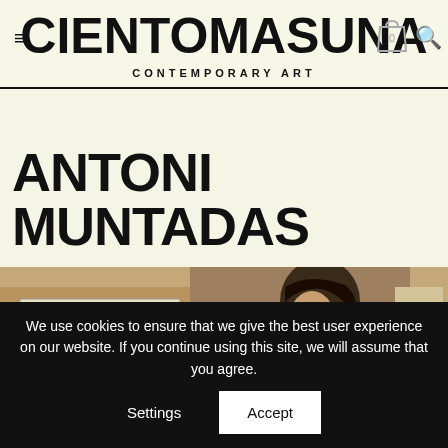CIENTOMASUNA CONTEMPORARY ART
ANTONI MUNTADAS
[Figure (photo): Photograph of documents and a black-and-white portrait of Antoni Muntadas. Visible items include a folder labeled 'PROYECTO DOC/MENTOS' with handwritten text 'Actividades II-IX' and a profile portrait photo of a man.]
We use cookies to ensure that we give the best user experience on our website. If you continue using this site, we will assume that you agree.